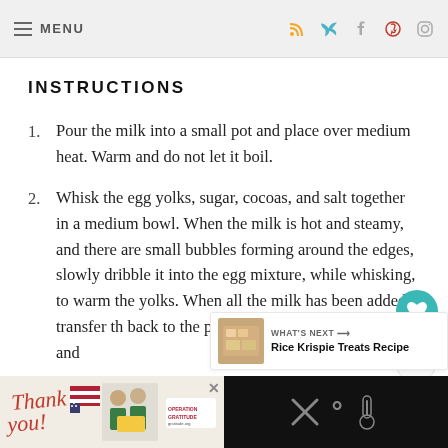≡ MENU
INSTRUCTIONS
Pour the milk into a small pot and place over medium heat. Warm and do not let it boil.
Whisk the egg yolks, sugar, cocoas, and salt together in a medium bowl. When the milk is hot and steamy, and there are small bubbles forming around the edges, slowly dribble it into the egg mixture, while whisking, to warm the yolks. When all the milk has been added, transfer th back to the pot, add the melted chocolate, and
[Figure (screenshot): Advertisement banner at the bottom showing 'Thank you' with Operation Gratitude imagery and medical workers]
[Figure (infographic): What's Next callout: Rice Krispie Treats Recipe with thumbnail image]